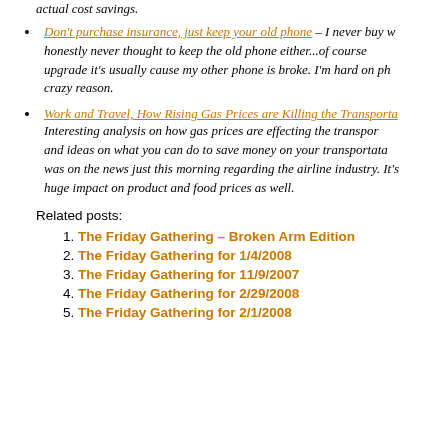actual cost savings.
Don't purchase insurance, just keep your old phone – I never buy w... honestly never thought to keep the old phone either...of course... upgrade it's usually cause my other phone is broke. I'm hard on ph... crazy reason.
Work and Travel, How Rising Gas Prices are Killing the Transporta... Interesting analysis on how gas prices are effecting the transpor... and ideas on what you can do to save money on your transportata... was on the news just this morning regarding the airline industry. It's... huge impact on product and food prices as well.
Related posts:
The Friday Gathering – Broken Arm Edition
The Friday Gathering for 1/4/2008
The Friday Gathering for 11/9/2007
The Friday Gathering for 2/29/2008
The Friday Gathering for 2/1/2008